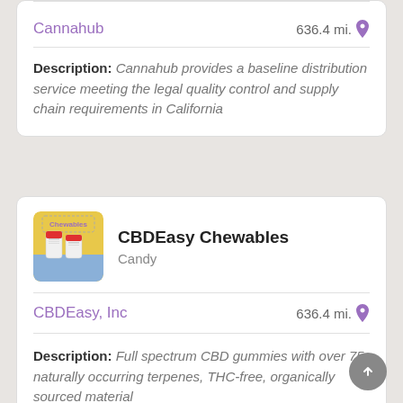Cannahub
636.4 mi.
Description: Cannahub provides a baseline distribution service meeting the legal quality control and supply chain requirements in California
CBDEasy Chewables
Candy
CBDEasy, Inc
636.4 mi.
Description: Full spectrum CBD gummies with over 75 naturally occurring terpenes, THC-free, organically sourced material